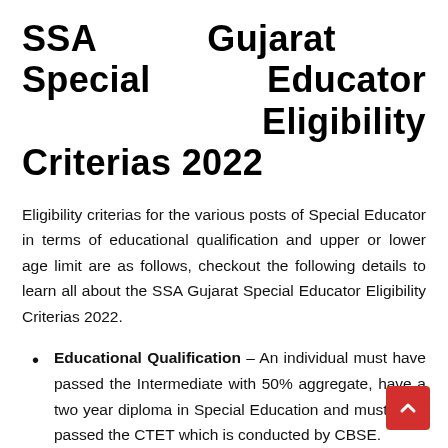SSA Gujarat Special Educator Eligibility Criterias 2022
Eligibility criterias for the various posts of Special Educator in terms of educational qualification and upper or lower age limit are as follows, checkout the following details to learn all about the SSA Gujarat Special Educator Eligibility Criterias 2022.
Educational Qualification – An individual must have passed the Intermediate with 50% aggregate, have a two year diploma in Special Education and must have passed the CTET which is conducted by CBSE.